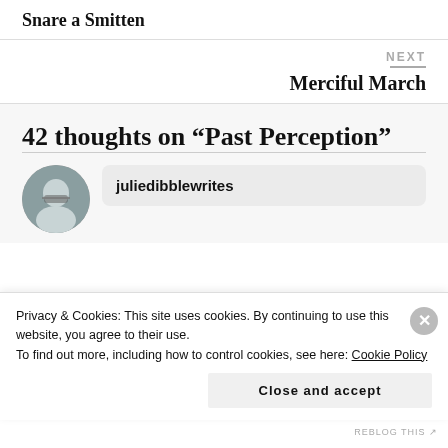Snare a Smitten
NEXT
Merciful March
42 thoughts on “Past Perception”
juliedibblewrites
Privacy & Cookies: This site uses cookies. By continuing to use this website, you agree to their use.
To find out more, including how to control cookies, see here: Cookie Policy
Close and accept